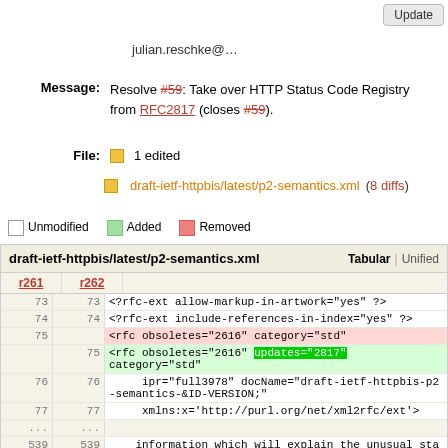Update
julian.reschke@...
Message: Resolve #59: Take over HTTP Status Code Registry from RFC2817 (closes #59).
File: 1 edited
draft-ietf-httpbis/latest/p2-semantics.xml (8 diffs)
Unmodified  Added  Removed
| r261 | r262 |  |
| --- | --- | --- |
| 73 | 73 | <?rfc-ext allow-markup-in-artwork="yes" ?> |
| 74 | 74 | <?rfc-ext include-references-in-index="yes" ?> |
| 75 |  | <rfc obsoletes="2616" category="std" |
|  | 75 | <rfc obsoletes="2616" updates="2817" category="std" |
| 76 | 76 |      ipr="full3978" docName="draft-ietf-httpbis-p2-semantics-&ID-VERSION;" |
| 77 | 77 |      xmlns:x='http://purl.org/net/xml2rfc/ext'> |
| ... | ... |  |
| 539 | 539 |     information which will explain the unusual status. |
| 540 | 540 | </t> |
|  | 541 |  |